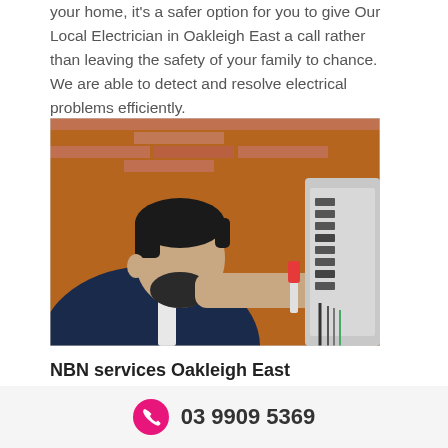your home, it's a safer option for you to give Our Local Electrician in Oakleigh East a call rather than leaving the safety of your family to chance. We are able to detect and resolve electrical problems efficiently.
[Figure (photo): An electrician working on an electrical switchboard panel mounted on a brick wall, using a tool, viewed close up from the side.]
NBN services Oakleigh East
03 9909 5369